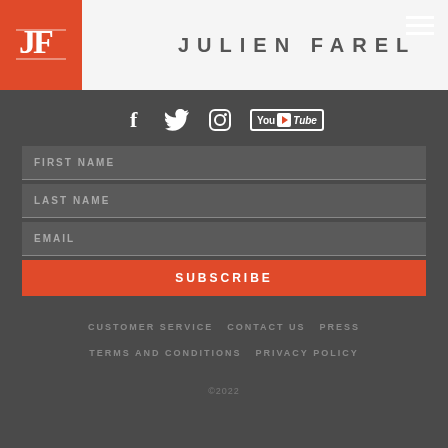[Figure (logo): Julien Farel brand logo with red square containing JF initials and brand name text]
[Figure (infographic): Social media icons: Facebook, Twitter, Instagram, YouTube]
FIRST NAME
LAST NAME
EMAIL
SUBSCRIBE
CUSTOMER SERVICE   CONTACT US   PRESS
TERMS AND CONDITIONS   PRIVACY POLICY
©2022